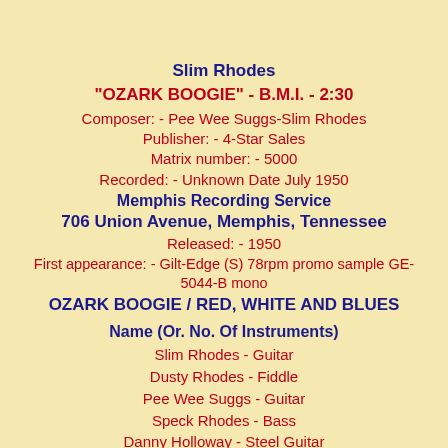Slim Rhodes
"OZARK BOOGIE" - B.M.I. - 2:30
Composer: - Pee Wee Suggs-Slim Rhodes
Publisher: - 4-Star Sales
Matrix number: - 5000
Recorded: - Unknown Date July 1950
Memphis Recording Service
706 Union Avenue, Memphis, Tennessee
Released: - 1950
First appearance: - Gilt-Edge (S) 78rpm promo sample GE-5044-B mono
OZARK BOOGIE / RED, WHITE AND BLUES
Name (Or. No. Of Instruments)
Slim Rhodes - Guitar
Dusty Rhodes - Fiddle
Pee Wee Suggs - Guitar
Speck Rhodes - Bass
Danny Holloway - Steel Guitar